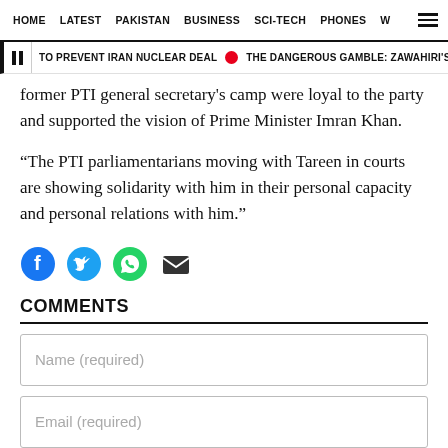HOME  LATEST  PAKISTAN  BUSINESS  SCI-TECH  PHONES  W
TO PREVENT IRAN NUCLEAR DEAL  THE DANGEROUS GAMBLE: ZAWAHIRI'S KILLING
former PTI general secretary's camp were loyal to the party and supported the vision of Prime Minister Imran Khan.
“The PTI parliamentarians moving with Tareen in courts are showing solidarity with him in their personal capacity and personal relations with him.”
[Figure (infographic): Social media share icons: Facebook, Twitter, WhatsApp, Email]
COMMENTS
Name (required)
Email (required)